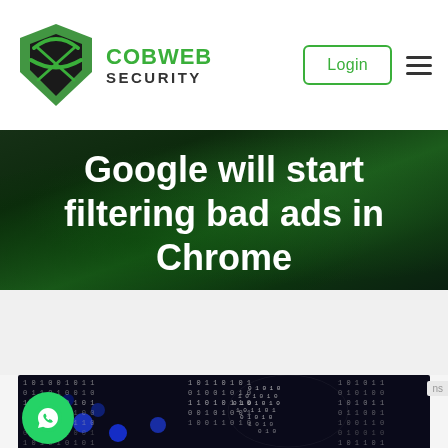[Figure (logo): Cobweb Security logo: green shield with swoosh graphic and company name]
Google will start filtering bad ads in Chrome
[Figure (photo): Binary code digital data background with blue glowing spheres and a globe made of binary digits on dark background]